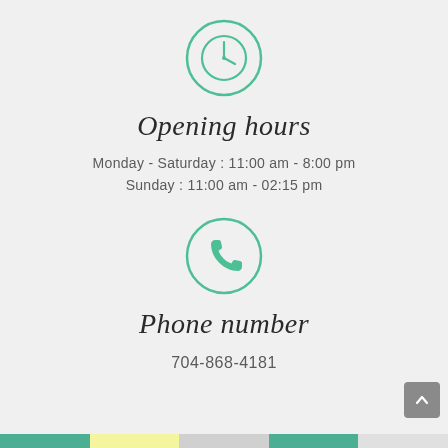[Figure (illustration): Green circle with a clock icon inside]
Opening hours
Monday - Saturday : 11:00 am - 8:00 pm
Sunday : 11:00 am - 02:15 pm
[Figure (illustration): Green circle with a phone handset icon inside]
Phone number
704-868-4181